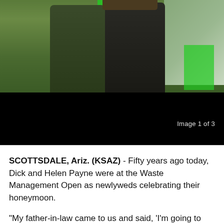[Figure (photo): Two people posing together at an outdoor event (Waste Management Open golf tournament). They are wearing dark green jackets. A green accent stripe is visible between them. Background shows a green field and crowd.]
Image 1 of 3
SCOTTSDALE, Ariz. (KSAZ) - Fifty years ago today, Dick and Helen Payne were at the Waste Management Open as newlyweds celebrating their honeymoon.
"My father-in-law came to us and said, 'I'm going to pay